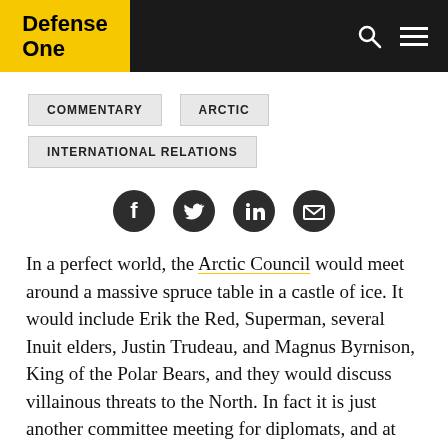Defense One
COMMENTARY
ARCTIC
INTERNATIONAL RELATIONS
[Figure (other): Social share icons: Facebook, Twitter, LinkedIn, Email]
In a perfect world, the Arctic Council would meet around a massive spruce table in a castle of ice. It would include Erik the Red, Superman, several Inuit elders, Justin Trudeau, and Magnus Byrnison, King of the Polar Bears, and they would discuss villainous threats to the North. In fact it is just another committee meeting for diplomats, and at the most recent meeting, Trudeau wasn't even there.